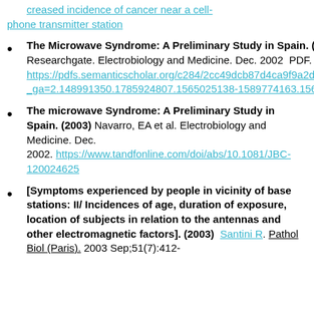creased incidence of cancer near a cell-phone transmitter station
The Microwave Syndrome: A Preliminary Study in Spain. (2003) Navarro, EA et al. Researchgate. Electrobiology and Medicine. Dec. 2002  PDF. https://pdfs.semanticscholar.org/c284/2cc49dcb87d4ca9f9a2d485236a103b2e3f0.pdf?_ga=2.148991350.1785924807.1565025138-1589774163.1565025138
The microwave Syndrome: A Preliminary Study in Spain. (2003) Navarro, EA et al. Electrobiology and Medicine. Dec. 2002. https://www.tandfonline.com/doi/abs/10.1081/JBC-120024625
[Symptoms experienced by people in vicinity of base stations: II/ Incidences of age, duration of exposure, location of subjects in relation to the antennas and other electromagnetic factors]. (2003) Santini R. Pathol Biol (Paris). 2003 Sep;51(7):412-